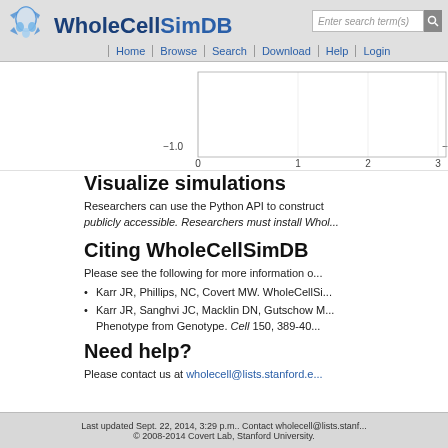WholeCellSimDB — Home | Browse | Search | Download | Help | Login
[Figure (continuous-plot): Partial chart visible at top of page, showing y-axis label -1.0 and x-axis labels 0, 1, 2, 3]
Visualize simulations
Researchers can use the Python API to construct publicly accessible. Researchers must install Whol...
Citing WholeCellSimDB
Please see the following for more information o...
Karr JR, Phillips, NC, Covert MW. WholeCellSi...
Karr JR, Sanghvi JC, Macklin DN, Gutschow MV... Phenotype from Genotype. Cell 150, 389-40...
Need help?
Please contact us at wholecell@lists.stanford.e...
Last updated Sept. 22, 2014, 3:29 p.m.. Contact wholecell@lists.stanf... © 2008-2014 Covert Lab, Stanford University.